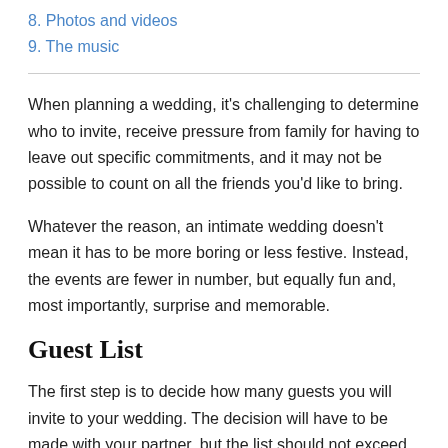8. Photos and videos
9. The music
When planning a wedding, it's challenging to determine who to invite, receive pressure from family for having to leave out specific commitments, and it may not be possible to count on all the friends you'd like to bring.
Whatever the reason, an intimate wedding doesn't mean it has to be more boring or less festive. Instead, the events are fewer in number, but equally fun and, most importantly, surprise and memorable.
Guest List
The first step is to decide how many guests you will invite to your wedding. The decision will have to be made with your partner, but the list should not exceed 50-75 people if you